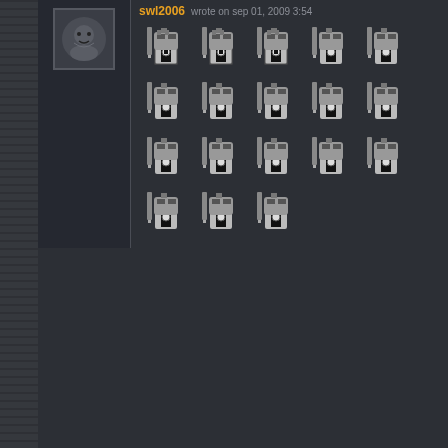swl2006 wrote on sep 01, 2009 3:54
[Figure (screenshot): Grid of approximately 18 warrior/knight pixel art emoji icons arranged in 6 rows of 3, each showing a helmeted figure with a shield and sword]
bigdaddy11 wrote on oct 02, 2009 9:
hey!! you don't need to beat the el
[Figure (screenshot): Three TOPIC buttons with pixel art icons below them, partially cut off at bottom]